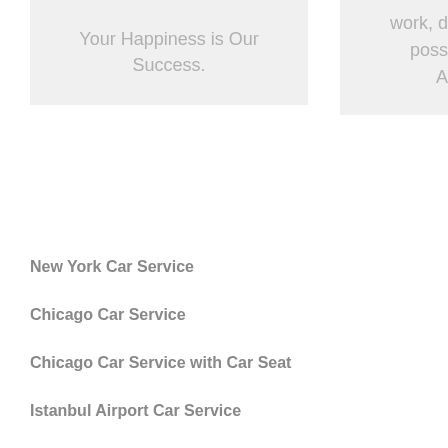Your Happiness is Our Success.
work, d poss A
New York Car Service
Chicago Car Service
Chicago Car Service with Car Seat
Istanbul Airport Car Service
Dubai Airport Car Service